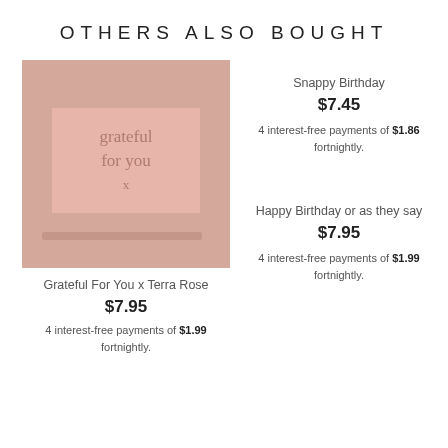OTHERS ALSO BOUGHT
[Figure (photo): Photo of a greeting card with cursive script reading 'grateful for you x' on a terracotta/rose-pink background]
Grateful For You x Terra Rose
$7.95
4 interest-free payments of $1.99 fortnightly.
Snappy Birthday
$7.45
4 interest-free payments of $1.86 fortnightly.
Happy Birthday or as they say
$7.95
4 interest-free payments of $1.99 fortnightly.